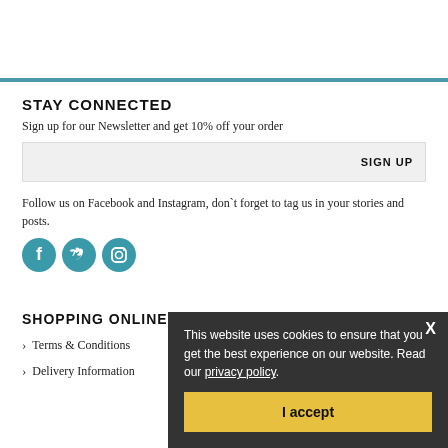STAY CONNECTED
Sign up for our Newsletter and get 10% off your order
SIGN UP
Follow us on Facebook and Instagram, don't forget to tag us in your stories and posts.
[Figure (illustration): Three social media icons: Facebook, Twitter, Instagram in teal circles]
SHOPPING ONLINE
Terms & Conditions
Delivery Information
This website uses cookies to ensure that you get the best experience on our website. Read our privacy policy.
I accept